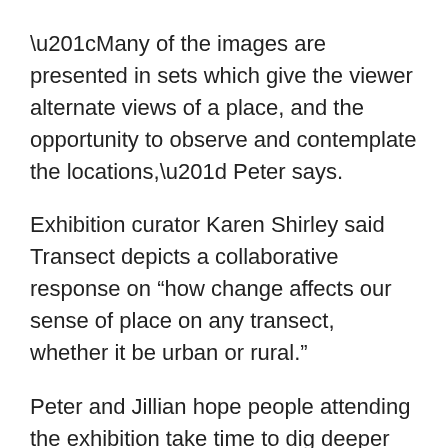“Many of the images are presented in sets which give the viewer alternate views of a place, and the opportunity to observe and contemplate the locations,” Peter says.
Exhibition curator Karen Shirley said Transect depicts a collaborative response on “how change affects our sense of place on any transect, whether it be urban or rural.”
Peter and Jillian hope people attending the exhibition take time to dig deeper into the images.
“Whether they are photographs drawings or printmaking, every element that appears in them is deliberate. Although most of the places depicted in the exhibition are in wilderness (both real and imagined)…all have a feel that echoes a traditional built form, an urban DNA that would feel right at home in Free.”